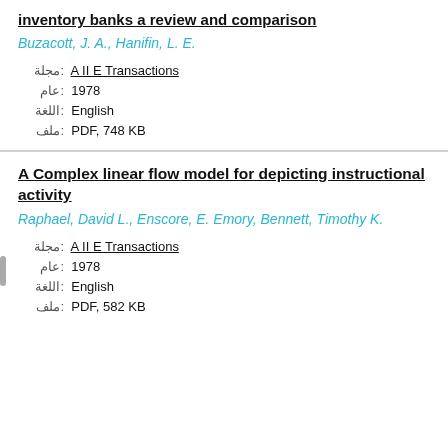inventory banks a review and comparison
Buzacott, J. A., Hanifin, L. E.
مجلة: A II E Transactions
عام: 1978
اللغة: English
ملف: PDF, 748 KB
A Complex linear flow model for depicting instructional activity
Raphael, David L., Enscore, E. Emory, Bennett, Timothy K.
مجلة: A II E Transactions
عام: 1978
اللغة: English
ملف: PDF, 582 KB